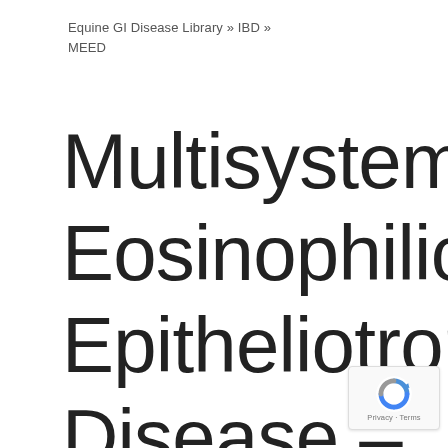Equine GI Disease Library » IBD » MEED
Multisystemic Eosinophilic Epitheliotropic Disease – MEED